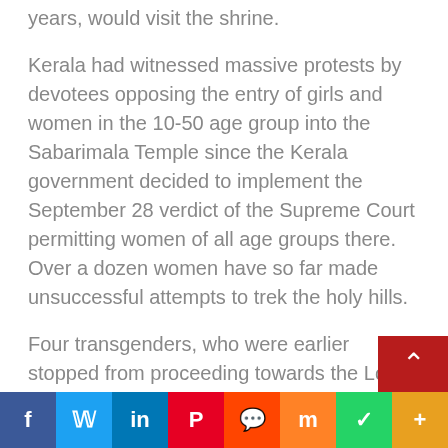years, would visit the shrine.
Kerala had witnessed massive protests by devotees opposing the entry of girls and women in the 10-50 age group into the Sabarimala Temple since the Kerala government decided to implement the September 28 verdict of the Supreme Court permitting women of all age groups there. Over a dozen women have so far made unsuccessful attempts to trek the holy hills.
Four transgenders, who were earlier stopped from proceeding towards the Lord Ayyappa temple citing security reasons, offered prayers at the hill shrine under heavy police security earlier this week. The Kerala High Court earlier this month appointed a three-member committee, vesting them with